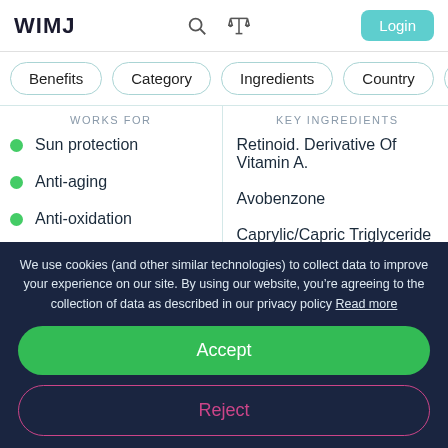WIMJ
Benefits
Category
Ingredients
Country
WORKS FOR
Sun protection
Anti-aging
Anti-oxidation
Evens skin tone
KEY INGREDIENTS
Retinoid. Derivative Of Vitamin A.
Avobenzone
Caprylic/Capric Triglyceride
Glycerin
We use cookies (and other similar technologies) to collect data to improve your experience on our site. By using our website, you’re agreeing to the collection of data as described in our privacy policy Read more
Accept
Reject